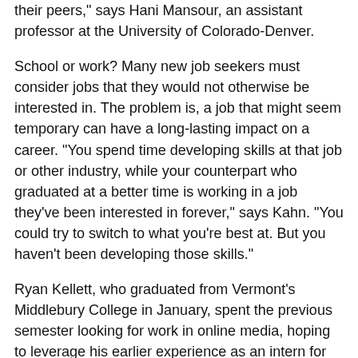their peers," says Hani Mansour, an assistant professor at the University of Colorado-Denver.
School or work? Many new job seekers must consider jobs that they would not otherwise be interested in. The problem is, a job that might seem temporary can have a long-lasting impact on a career. "You spend time developing skills at that job or other industry, while your counterpart who graduated at a better time is working in a job they've been interested in forever," says Kahn. "You could try to switch to what you're best at. But you haven't been developing those skills."
Ryan Kellett, who graduated from Vermont's Middlebury College in January, spent the previous semester looking for work in online media, hoping to leverage his earlier experience as an intern for National Public Radio. But after coming up empty in his job search, Kellett took a four-month contract with his alma mater, working as a research consultant. Though he is considering graduate school, Kellett says he's wary of leaving the job market. "I